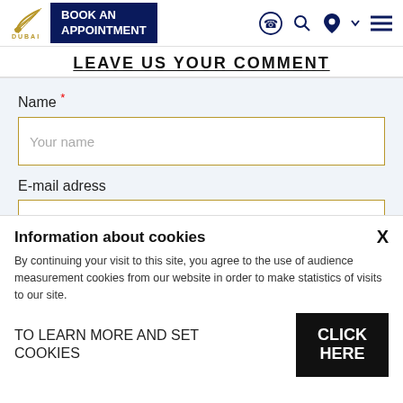BOOK AN APPOINTMENT
LEAVE US YOUR COMMENT
Name *
Your name
E-mail adress
Information about cookies
By continuing your visit to this site, you agree to the use of audience measurement cookies from our website in order to make statistics of visits to our site.
TO LEARN MORE AND SET COOKIES
CLICK HERE